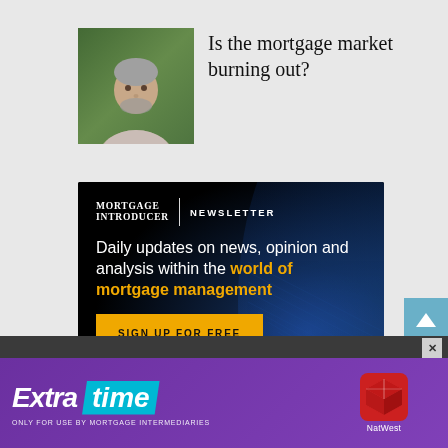[Figure (photo): Headshot of a middle-aged man with grey hair and beard, outdoors with green background]
Is the mortgage market burning out?
[Figure (infographic): Mortgage Introducer Newsletter advertisement. Dark background with blue sweep. Text: MORTGAGE INTRODUCER | NEWSLETTER. Daily updates on news, opinion and analysis within the world of mortgage management. SIGN UP FOR FREE button in yellow.]
[Figure (infographic): NatWest Extra time banner advertisement. Purple background. Logo: Extra time in white italic with cyan badge. Tagline: ONLY FOR USE BY MORTGAGE INTERMEDIARIES. NatWest cube logo on right.]